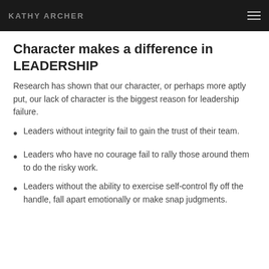KATHY ARCHER
Character makes a difference in LEADERSHIP
Research has shown that our character, or perhaps more aptly put, our lack of character is the biggest reason for leadership failure.
Leaders without integrity fail to gain the trust of their team.
Leaders who have no courage fail to rally those around them to do the risky work.
Leaders without the ability to exercise self-control fly off the handle, fall apart emotionally or make snap judgments.